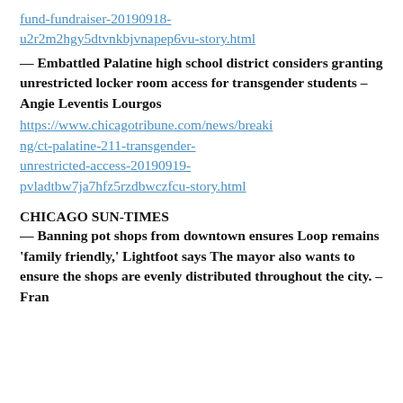fund-fundraiser-20190918-u2r2m2hgy5dtvnkbjvnapep6vu-story.html (link)
— Embattled Palatine high school district considers granting unrestricted locker room access for transgender students – Angie Leventis Lourgos
https://www.chicagotribune.com/news/breaking/ct-palatine-211-transgender-unrestricted-access-20190919-pvladtbw7ja7hfz5rzdbwczfcu-story.html
CHICAGO SUN-TIMES
— Banning pot shops from downtown ensures Loop remains 'family friendly,' Lightfoot says The mayor also wants to ensure the shops are evenly distributed throughout the city. – Fran